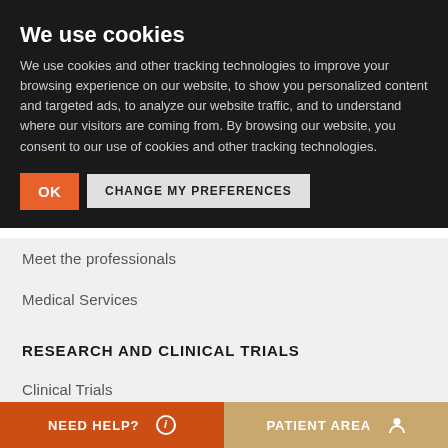We use cookies
We use cookies and other tracking technologies to improve your browsing experience on our website, to show you personalized content and targeted ads, to analyze our website traffic, and to understand where our visitors are coming from. By browsing our website, you consent to our use of cookies and other tracking technologies.
OK | CHANGE MY PREFERENCES
Meet the professionals
Medical Services
RESEARCH AND CLINICAL TRIALS
Clinical Trials
Scientific Publications
Central Unit for Clinical Trials
NEED HELP?  ℹ    PATIENT AREA  👤